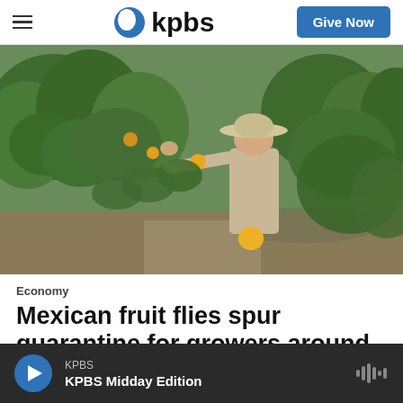kpbs | Give Now
[Figure (photo): A man in a wide-brimmed hat and beige long-sleeve shirt stands in an orchard, reaching toward citrus fruit on a tree with one hand and holding a yellow/orange fruit in the other hand.]
Economy
Mexican fruit flies spur quarantine for growers around Valley Center
KPBS | KPBS Midday Edition